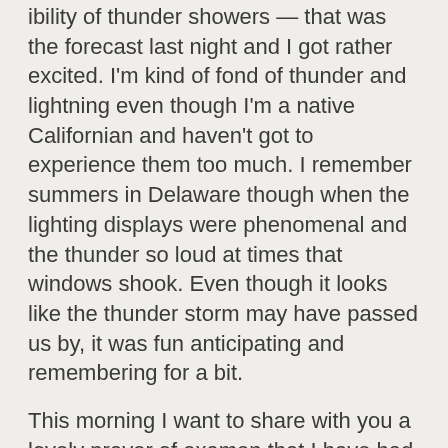ibility of thunder showers — that was the forecast last night and I got rather excited.  I'm kind of fond of thunder and lightning even though I'm a native Californian and haven't got to experience them too much.  I remember summers in Delaware though when the lighting displays were phenomenal and the thunder so loud at times that windows shook. Even though it looks like the thunder storm may have passed us by, it was fun anticipating and remembering for a bit.
This morning I want to share with you a lovely prayer of examen that I have had tucked away (with no idea where I found it or who wrote it).  I encourage you to try praying this prayer in the evening before retiring, letting your mind drift back over the day that has just passed and breathe in and out this prayer.
I pause (breathe in and out) and thank you for this